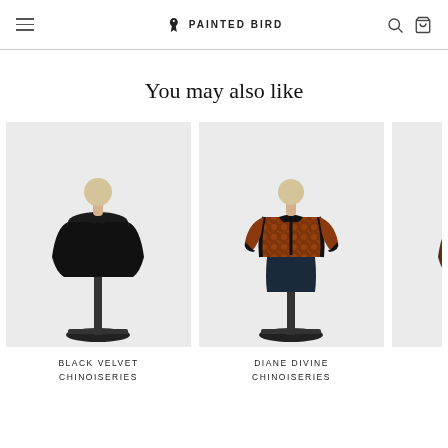PAINTED BIRD
You may also like
[Figure (photo): Black velvet chinoiseries jacket on mannequin stand against light grey background]
BLACK VELVET CHINOISERIES
[Figure (photo): Diane Divine chinoiseries jacket with black skirt on mannequin stand against light grey background]
DIANE DIVINE CHINOISERIES
[Figure (photo): Partially visible product - Decades brown item on mannequin stand]
DECAD BRO